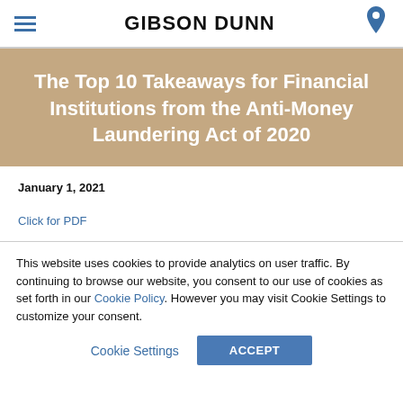GIBSON DUNN
The Top 10 Takeaways for Financial Institutions from the Anti-Money Laundering Act of 2020
January 1, 2021
Click for PDF
This website uses cookies to provide analytics on user traffic. By continuing to browse our website, you consent to our use of cookies as set forth in our Cookie Policy. However you may visit Cookie Settings to customize your consent.
Cookie Settings | ACCEPT